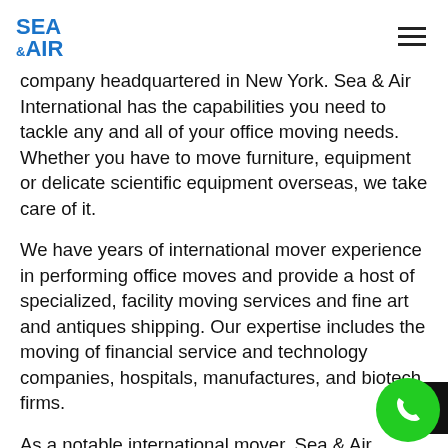Sea & Air [logo] [hamburger menu]
company headquartered in New York. Sea & Air International has the capabilities you need to tackle any and all of your office moving needs. Whether you have to move furniture, equipment or delicate scientific equipment overseas, we take care of it.
We have years of international mover experience in performing office moves and provide a host of specialized, facility moving services and fine art and antiques shipping. Our expertise includes the moving of financial service and technology companies, hospitals, manufactures, and biotech firms.
As a notable international mover, Sea & Air International's goal is to provide you with the utmost quality and top-notch customer service. Sea & Air International is an experienced international mover,